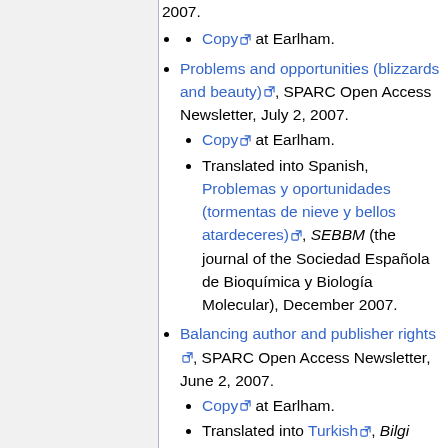2007.
Copy at Earlham.
Problems and opportunities (blizzards and beauty), SPARC Open Access Newsletter, July 2, 2007.
Copy at Earlham.
Translated into Spanish, Problemas y oportunidades (tormentas de nieve y bellos atardeceres), SEBBM (the journal of the Sociedad Española de Bioquímica y Biología Molecular), December 2007.
Balancing author and publisher rights, SPARC Open Access Newsletter, June 2, 2007.
Copy at Earlham.
Translated into Turkish, Bilgi